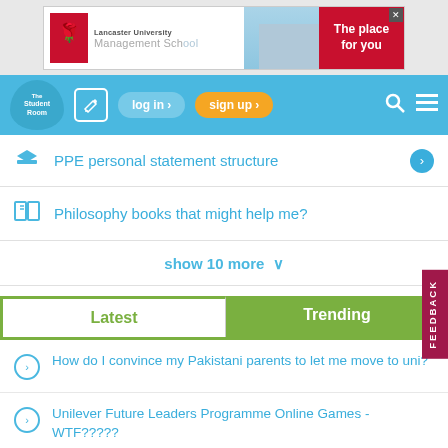[Figure (illustration): Lancaster University Management School advertisement banner with logo, building photo, and 'The place for you' text on red background]
[Figure (screenshot): The Student Room website navigation bar with logo, edit icon, log in button, sign up button, search and menu icons on blue background]
PPE personal statement structure
Philosophy books that might help me?
show 10 more
Latest | Trending tabs
How do I convince my Pakistani parents to let me move to uni?
Unilever Future Leaders Programme Online Games - WTF?????
Unemployment 2022